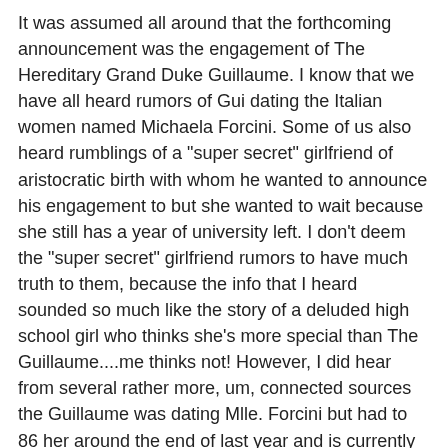It was assumed all around that the forthcoming announcement was the engagement of The Hereditary Grand Duke Guillaume. I know that we have all heard rumors of Gui dating the Italian women named Michaela Forcini. Some of us also heard rumblings of a "super secret" girlfriend of aristocratic birth with whom he wanted to announce his engagement to but she wanted to wait because she still has a year of university left. I don't deem the "super secret" girlfriend rumors to have much truth to them, because the info that I heard sounded so much like the story of a deluded high school girl who thinks she's more special than The Guillaume....me thinks not! However, I did hear from several rather more, um, connected sources the Guillaume was dating Mlle. Forcini but had to 86 her around the end of last year and is currently without much female companionship. Line starts >>HERE<<  ....
Allow me to add a disclaimer at this point...Guillaume did not, in fact, wake up in my bed this morning. *sniffle, sniffle* :( I know, I know it breaks the heart. Therefore, my knowledge of his currently lonely status is not based on first hand experience. For those of you who can't grasp the meaning of